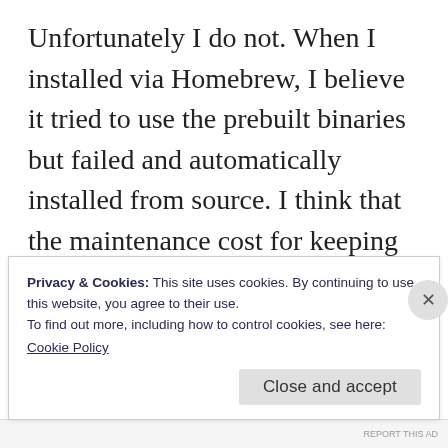Unfortunately I do not. When I installed via Homebrew, I believe it tried to use the prebuilt binaries but failed and automatically installed from source. I think that the maintenance cost for keeping valid pre-built packages/binaries is high especially in the context of a cross platform app like these ones. I suppose it's the price to pay for using good open-source software :). P.S. I saw discussions surrounding incorporating Maxima into Jupyter. I can't
Privacy & Cookies: This site uses cookies. By continuing to use this website, you agree to their use.
To find out more, including how to control cookies, see here:
Cookie Policy
Close and accept
REPORT THIS AD